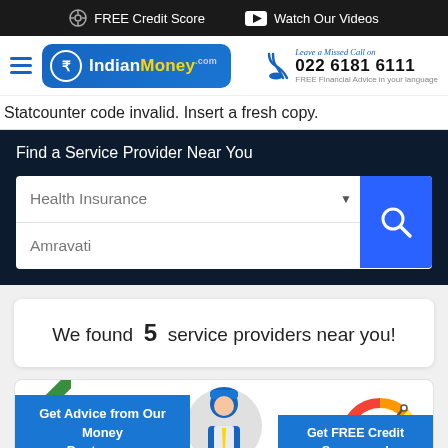FREE Credit Score  Watch Our Videos
[Figure (logo): IndianMoney.com logo with hamburger menu and phone number: Leave a Missed Call on 022 6181 6111 FREE Financial Advice in your language]
Statcounter code invalid. Insert a fresh copy.
Find a Service Provider Near You
Health Insurance (dropdown)
Amravati
We found 5 service providers near you!
Get Advice from Our Money Doctor now
Get FREE Credit Score now!